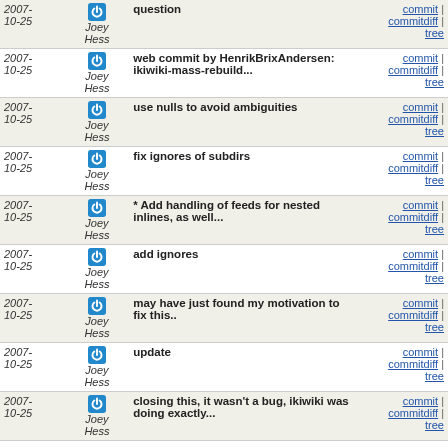| Date | Author | Message | Links |
| --- | --- | --- | --- |
| 2007-10-25 | Joey Hess | question | commit | commitdiff | tree |
| 2007-10-25 | Joey Hess | web commit by HenrikBrixAndersen: ikiwiki-mass-rebuild... | commit | commitdiff | tree |
| 2007-10-25 | Joey Hess | use nulls to avoid ambiguities | commit | commitdiff | tree |
| 2007-10-25 | Joey Hess | fix ignores of subdirs | commit | commitdiff | tree |
| 2007-10-25 | Joey Hess | * Add handling of feeds for nested inlines, as well... | commit | commitdiff | tree |
| 2007-10-25 | Joey Hess | add ignores | commit | commitdiff | tree |
| 2007-10-25 | Joey Hess | may have just found my motivation to fix this.. | commit | commitdiff | tree |
| 2007-10-25 | Joey Hess | update | commit | commitdiff | tree |
| 2007-10-25 | Joey Hess | closing this, it wasn't a bug, ikiwiki was doing exactly... | commit | commitdiff | tree |